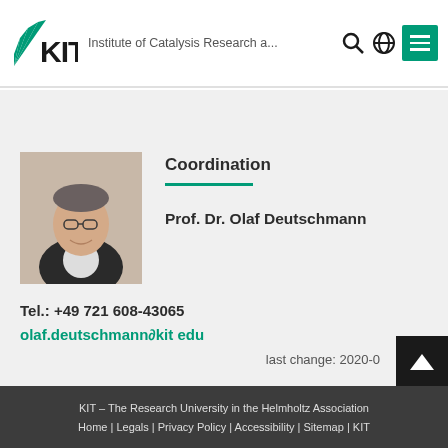[Figure (logo): KIT logo with green fan shape and bold KIT text]
Institute of Catalysis Research a...
[Figure (photo): Portrait photo of Prof. Dr. Olaf Deutschmann, man with glasses wearing a dark suit jacket]
Coordination
Prof. Dr. Olaf Deutschmann
Tel.: +49 721 608-43065
olaf.deutschmann∂kit edu
last change: 2020-0
KIT – The Research University in the Helmholtz Association
Home | Legals | Privacy Policy | Accessibility | Sitemap | KIT